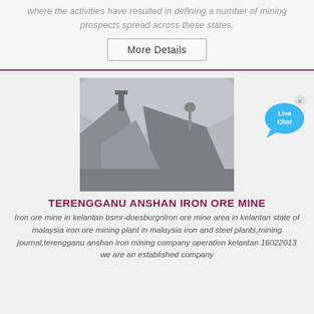where the activities have resulted in defining a number of mining prospects spread across these states.
More Details
[Figure (photo): Photograph of an iron ore mine or quarry with large grey gravel/ore piles and industrial equipment in the background with misty atmosphere]
[Figure (illustration): Live Chat bubble icon in blue]
TERENGGANU ANSHAN IRON ORE MINE
Iron ore mine in kelantan bsmr-doesburgnlron ore mine area in kelantan state of malaysia iron ore mining plant in malaysia iron and steel plants,mining journal,terengganu anshan iron mining company operation kelantan 16022013 we are an established company